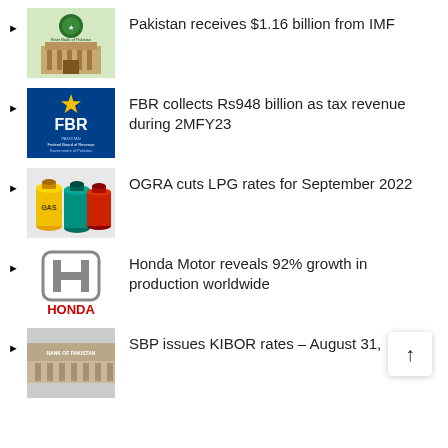Pakistan receives $1.16 billion from IMF
FBR collects Rs948 billion as tax revenue during 2MFY23
OGRA cuts LPG rates for September 2022
Honda Motor reveals 92% growth in production worldwide
SBP issues KIBOR rates – August 31,